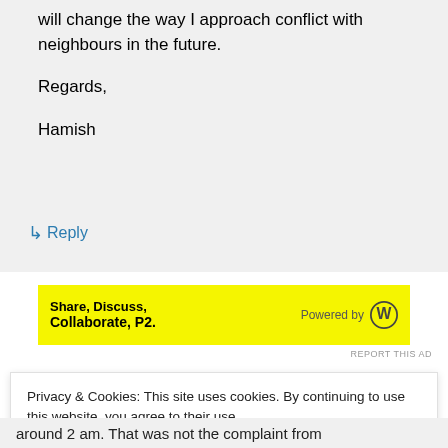will change the way I approach conflict with neighbours in the future.

Regards,

Hamish
↳ Reply
[Figure (screenshot): Yellow advertisement banner for P2: 'Share, Discuss, Collaborate, P2.' Powered by WordPress logo]
REPORT THIS AD
Privacy & Cookies: This site uses cookies. By continuing to use this website, you agree to their use.
To find out more, including how to control cookies, see here: Cookie Policy
Close and accept
around 2 am. That was not the complaint from